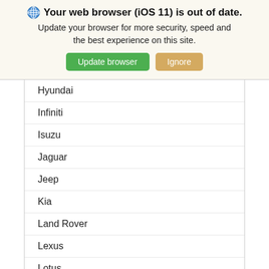[Figure (screenshot): Browser update notification banner with globe icon, bold text 'Your web browser (iOS 11) is out of date.', subtext, and two buttons: 'Update browser' (green) and 'Ignore' (orange/tan)]
Hyundai
Infiniti
Isuzu
Jaguar
Jeep
Kia
Land Rover
Lexus
Lotus
Mazda
Mercedes
MG
Mini
[Figure (screenshot): Cookie consent popup with dark blue-gray background, text 'Our site uses cookies to ensure you get the best experience.', a 'Learn more' link, and an 'OK' button]